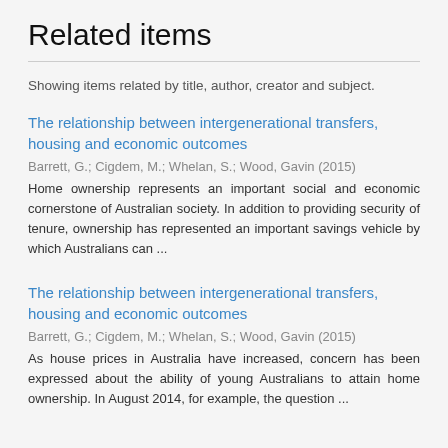Related items
Showing items related by title, author, creator and subject.
The relationship between intergenerational transfers, housing and economic outcomes
Barrett, G.; Cigdem, M.; Whelan, S.; Wood, Gavin (2015)
Home ownership represents an important social and economic cornerstone of Australian society. In addition to providing security of tenure, ownership has represented an important savings vehicle by which Australians can ...
The relationship between intergenerational transfers, housing and economic outcomes
Barrett, G.; Cigdem, M.; Whelan, S.; Wood, Gavin (2015)
As house prices in Australia have increased, concern has been expressed about the ability of young Australians to attain home ownership. In August 2014, for example, the question ...